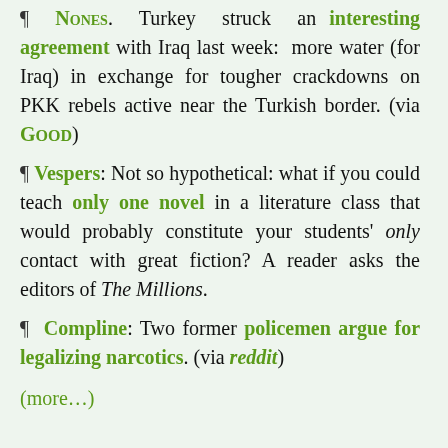¶ Nones. Turkey struck an interesting agreement with Iraq last week: more water (for Iraq) in exchange for tougher crackdowns on PKK rebels active near the Turkish border. (via Good)
¶ Vespers: Not so hypothetical: what if you could teach only one novel in a literature class that would probably constitute your students' only contact with great fiction? A reader asks the editors of The Millions.
¶ Compline: Two former policemen argue for legalizing narcotics. (via reddit)
(more…)